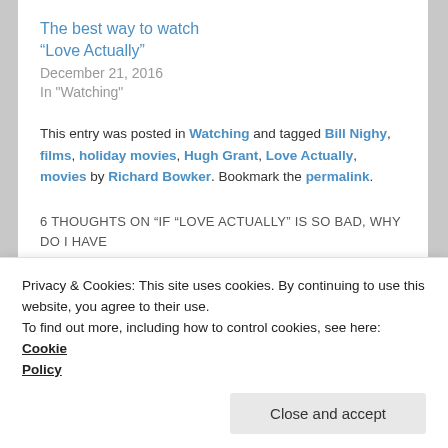The best way to watch “Love Actually”
December 21, 2016
In "Watching"
This entry was posted in Watching and tagged Bill Nighy, films, holiday movies, Hugh Grant, Love Actually, movies by Richard Bowker. Bookmark the permalink.
6 THOUGHTS ON “IF “LOVE ACTUALLY” IS SO BAD, WHY DO I HAVE TO WATCH IT EVERY YEAR?”
Privacy & Cookies: This site uses cookies. By continuing to use this website, you agree to their use. To find out more, including how to control cookies, see here: Cookie Policy